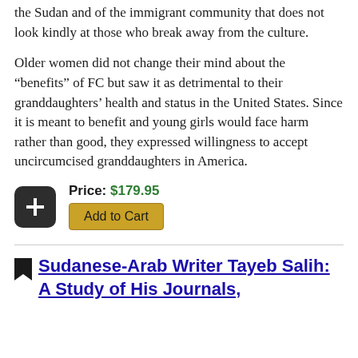the Sudan and of the immigrant community that does not look kindly at those who break away from the culture.
Older women did not change their mind about the “benefits” of FC but saw it as detrimental to their granddaughters’ health and status in the United States. Since it is meant to benefit and young girls would face harm rather than good, they expressed willingness to accept uncircumcised granddaughters in America.
Price: $179.95
Add to Cart
Sudanese-Arab Writer Tayeb Salih: A Study of His Journals,